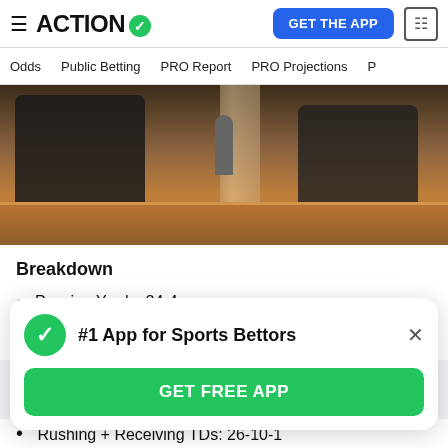ACTION
Odds | Public Betting | PRO Report | PRO Projections
[Figure (photo): Two people in suits at a late-night talk show desk, one holding a microphone, with studio columns and warm brown tones in the background.]
Breakdown
Passing Yards: 24-4
Passing TDs: 19-8
#1 App for Sports Bettors
GET FREE APP
Rushing + Receiving TDs: 26-10-1